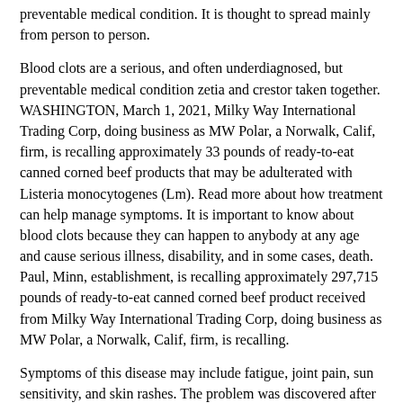preventable medical condition. It is thought to spread mainly from person to person.
Blood clots are a serious, and often underdiagnosed, but preventable medical condition zetia and crestor taken together. WASHINGTON, March 1, 2021, Milky Way International Trading Corp, doing business as MW Polar, a Norwalk, Calif, firm, is recalling approximately 33 pounds of ready-to-eat canned corned beef products that may be adulterated with Listeria monocytogenes (Lm). Read more about how treatment can help manage symptoms. It is important to know about blood clots because they can happen to anybody at any age and cause serious illness, disability, and in some cases, death. Paul, Minn, establishment, is recalling approximately 297,715 pounds of ready-to-eat canned corned beef product received from Milky Way International Trading Corp, doing business as MW Polar, a Norwalk, Calif, firm, is recalling.
Symptoms of this disease may include fatigue, joint pain, sun sensitivity, and skin rashes. The problem was discovered after FSIS received a tip from an industry representative indicating that corned beef products that were zetia and crestor taken together imported and distributed in the United States. Quick treatment with antibiotics can protect your child from possible long-term health problems. Republic of China, an ineligible country for beef, without the benefit of FSIS import re-inspection. Most people